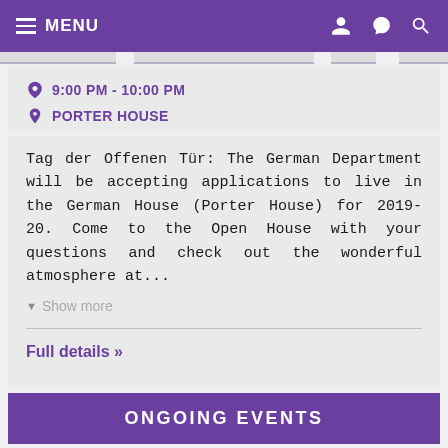MENU
9:00 PM - 10:00 PM
PORTER HOUSE
Tag der Offenen Tür: The German Department will be accepting applications to live in the German House (Porter House) for 2019-20. Come to the Open House with your questions and check out the wonderful atmosphere at...
▼ Show more
Full details »
ONGOING EVENTS